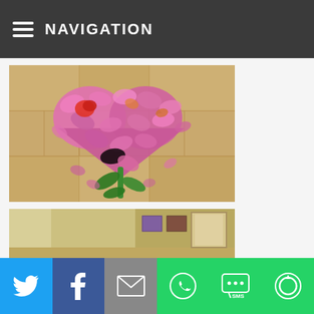NAVIGATION
[Figure (photo): Heart shape made of pink and magenta rose petals arranged on a stone tile floor, with a rose stem and green leaves at the bottom]
[Figure (photo): Interior room photo partially visible, showing wall with artwork and a door]
[Figure (other): Social share bar with icons: Twitter (blue), Facebook (dark blue), Email (grey), WhatsApp (green), SMS (green), More (green)]